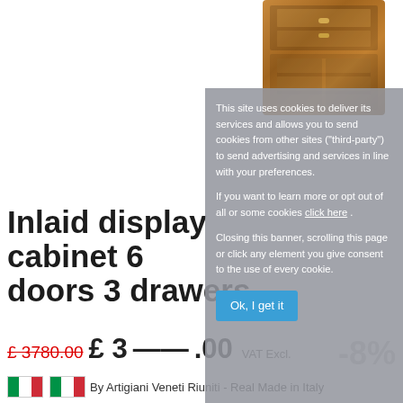[Figure (photo): Photo of an ornate wooden inlaid display cabinet with multiple drawers, shown in warm brown tones, partially visible at top of page]
Inlaid display cabinet 6 doors 3 drawers -8%
£ 3780.00  £ 3[...].00  VAT Excl.
[Figure (illustration): Italian flag icon (green, white, red vertical stripes)]
By Artigiani Veneti Riuniti - Real Made in Italy
Sku E465-V
VAT has to be paid by the customer after customs clearance. The customer will pay it to the courier upon delivery.
Inlaid display cabinet in classic style. The lower part consists of a beautiful sideboard with 3 doors and 3 slightly rounded drawers. The delicate floral inlays on
This site uses cookies to deliver its services and allows you to send cookies from other sites ("third-party") to send advertising and services in line with your preferences. If you want to learn more or opt out of all or some cookies click here . Closing this banner, scrolling this page or click any element you give consent to the use of every cookie.